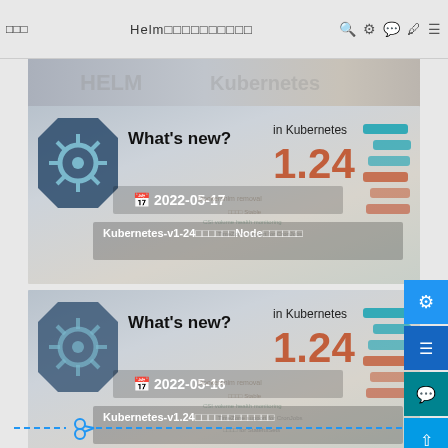□□□   Helm□□□□□□□□□□
[Figure (screenshot): Banner strip with HELM and Kubernetes logos]
[Figure (screenshot): Card: What's new? in Kubernetes 1.24, date 2022-05-17, title: Kubernetes-v1-24□□□□□□Node□□□□□□]
[Figure (screenshot): Card: What's new? in Kubernetes 1.24, date 2022-05-16, title: Kubernetes-v1.24□□□□□□□□□□□□]
[Figure (illustration): Dashed scissors separator line at bottom of page]